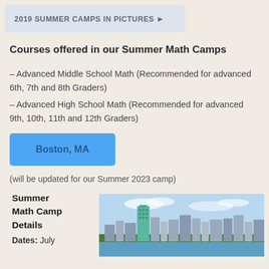2019 SUMMER CAMPS IN PICTURES ▶
Courses offered in our Summer Math Camps
– Advanced Middle School Math (Recommended for advanced 6th, 7th and 8th Graders)
– Advanced High School Math (Recommended for advanced 9th, 10th, 11th and 12th Graders)
Boston, MA
(will be updated for our Summer 2023 camp)
Summer Math Camp Details
Dates: July
[Figure (photo): Aerial photo of Boston, MA skyline with river in foreground and tall buildings including a green glass skyscraper]